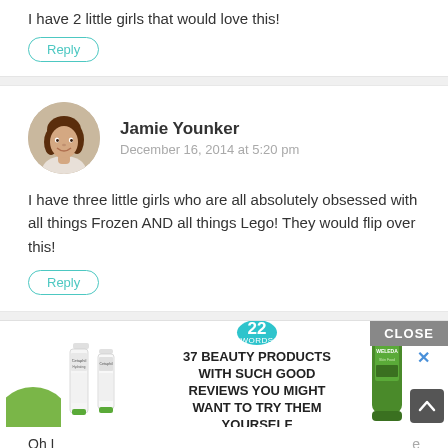I have 2 little girls that would love this!
Reply
Jamie Younker
December 16, 2014 at 5:20 pm
I have three little girls who are all absolutely obsessed with all things Frozen AND all things Lego! They would flip over this!
Reply
[Figure (screenshot): Advertisement banner: Cetaphil and Weleda product images with text '37 BEAUTY PRODUCTS WITH SUCH GOOD REVIEWS YOU MIGHT WANT TO TRY THEM YOURSELF' and a '22' badge. Has CLOSE button and X dismiss button. Scroll-to-top arrow button at bottom right.]